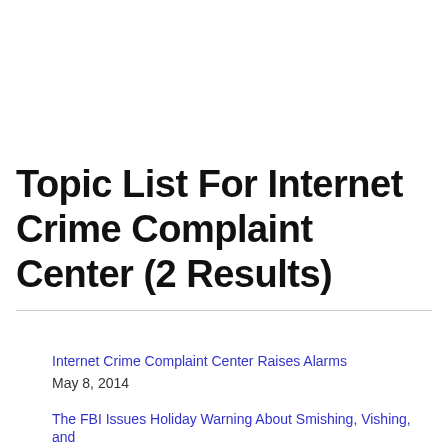Topic List For Internet Crime Complaint Center (2 Results)
Internet Crime Complaint Center Raises Alarms
May 8, 2014
The FBI Issues Holiday Warning About Smishing, Vishing, and